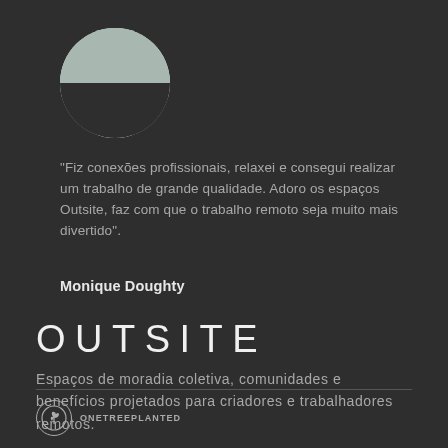[Figure (photo): Circular profile photo of a young woman with braids, wearing a white top, photographed outdoors]
"Fiz conexões profissionais, relaxei e consegui realizar um trabalho de grande qualidade. Adoro os espaços Outsite, faz com que o trabalho remoto seja muito mais divertido".
Monique Doughty
OUTSITE
Espaços de moradia coletiva, comunidades e benefícios projetados para criadores e trabalhadores remotos.
[Figure (logo): OneTreePlanted circular logo with a leaf/tree icon and text ONETREEPLANTED below]